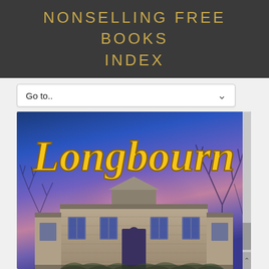NONSELLING FREE BOOKS INDEX
Go to..
[Figure (illustration): Book cover for 'Longbourn' showing a stone manor house against a dramatic purple-blue twilight sky with bare trees, and the title 'Longbourn' in large gothic yellow lettering at the top.]